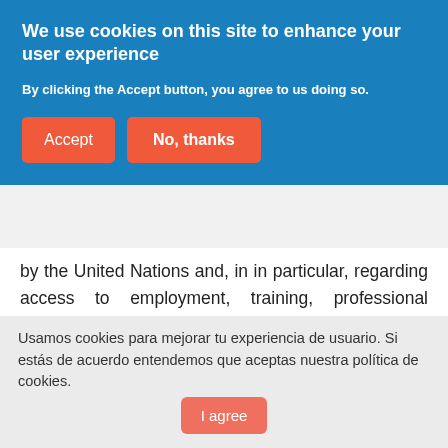We use cookies on this site to enhance your user experience
By clicking the Accept button, you agree to us doing so.
by the United Nations and, in in particular, regarding access to employment, training, professional promotion and working conditions, and, for these purposes:
Reinforce the Company's commitment to gender equality, both within the organization
Usamos cookies para mejorar tu experiencia de usuario. Si estás de acuerdo entendemos que aceptas nuestra política de cookies.